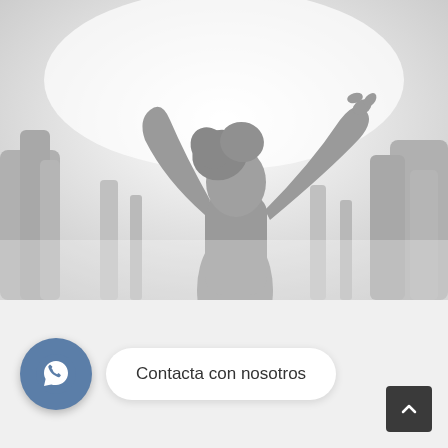[Figure (photo): Grayscale/light-washed photo of a person silhouette with arms raised, surrounded by tall grass or plants, bright overexposed background]
[Figure (infographic): WhatsApp contact button: circular blue icon with WhatsApp logo and a white rounded pill-shaped bubble reading 'Contacta con nosotros']
Contacta con nosotros
[Figure (other): Dark square scroll-to-top button with upward chevron arrow in the bottom-right corner]